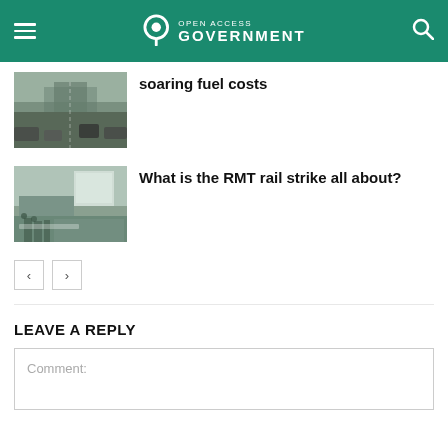Open Access Government
soaring fuel costs
[Figure (photo): Aerial view of a highway with cars and trucks]
What is the RMT rail strike all about?
[Figure (photo): Street scene with people and buildings, appearing to show a strike or protest]
LEAVE A REPLY
Comment: